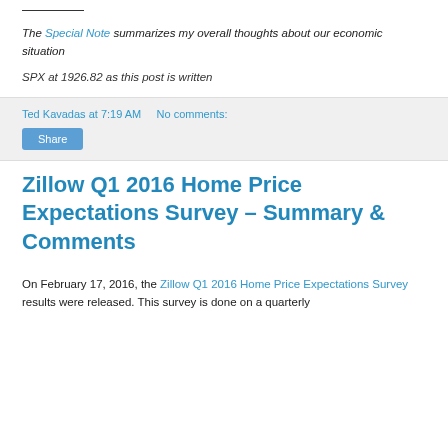The Special Note summarizes my overall thoughts about our economic situation
SPX at 1926.82 as this post is written
Ted Kavadas at 7:19 AM   No comments:
Zillow Q1 2016 Home Price Expectations Survey – Summary & Comments
On February 17, 2016, the Zillow Q1 2016 Home Price Expectations Survey results were released. This survey is done on a quarterly